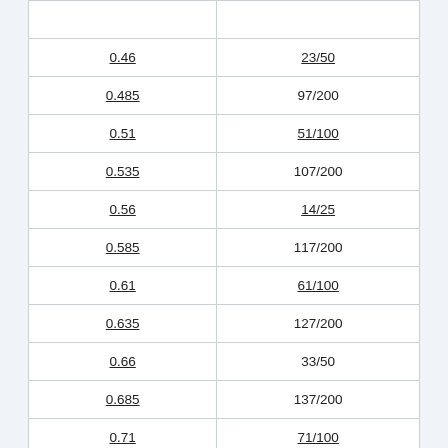|  |  |
| 0.46 | 23/50 |
| 0.485 | 97/200 |
| 0.51 | 51/100 |
| 0.535 | 107/200 |
| 0.56 | 14/25 |
| 0.585 | 117/200 |
| 0.61 | 61/100 |
| 0.635 | 127/200 |
| 0.66 | 33/50 |
| 0.685 | 137/200 |
| 0.71 | 71/100 |
| 0.735 | 147/200 |
| 0.76 | 19/25 |
| 0.785 | 157/200 |